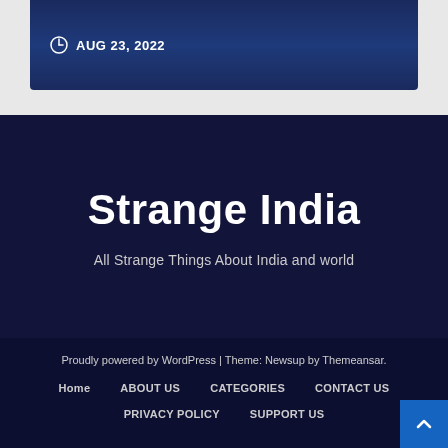AUG 23, 2022
Strange India
All Strange Things About India and world
Proudly powered by WordPress | Theme: Newsup by Themeansar.
Home
ABOUT US
CATEGORIES
CONTACT US
PRIVACY POLICY
SUPPORT US